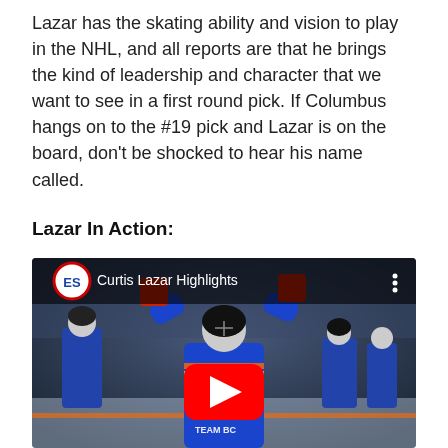Lazar has the skating ability and vision to play in the NHL, and all reports are that he brings the kind of leadership and character that we want to see in a first round pick. If Columbus hangs on to the #19 pick and Lazar is on the board, don't be shocked to hear his name called.
Lazar In Action:
[Figure (screenshot): YouTube video thumbnail showing Curtis Lazar Highlights. A hockey player wearing a blue Team BC jersey with arms raised in celebration. YouTube play button (red rectangle with white triangle) centered on image. Top bar shows ES logo circle and video title 'Curtis Lazar Highlights'.]